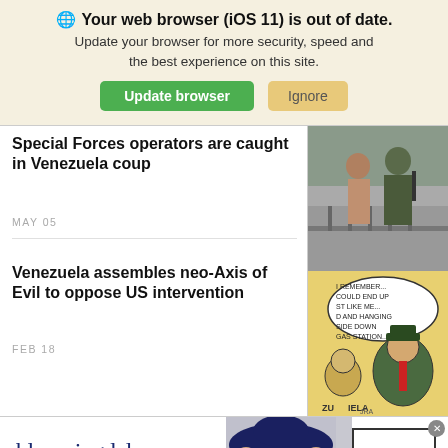Your web browser (iOS 11) is out of date. Update your browser for more security, speed and the best experience on this site. [Update browser] [Ignore]
Special Forces operators are caught in Venezuela coup
MAY 05
[Figure (photo): Military/special forces soldier with person against railing, outdoor scene]
Venezuela assembles neo-Axis of Evil to oppose US intervention
FEB 18
[Figure (illustration): Political cartoon with speech bubble text: I REMEMBER... COULD END UP ST LIKE ME... D AND HANGING SIDE DOWN GAS STATION... Shows caricatures of military figures]
[Figure (photo): Bloomingdale's advertisement with woman wearing large hat. Text: bloomingdales, View Today's Top Deals!, SHOP NOW >]